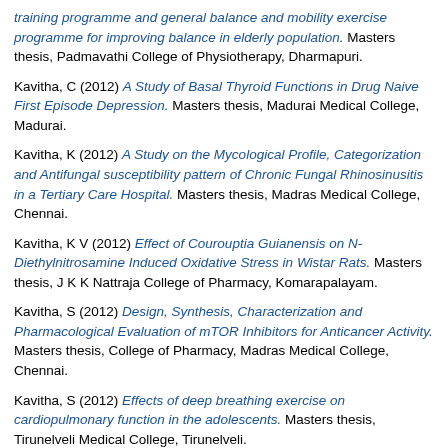training programme and general balance and mobility exercise programme for improving balance in elderly population. Masters thesis, Padmavathi College of Physiotherapy, Dharmapuri.
Kavitha, C (2012) A Study of Basal Thyroid Functions in Drug Naive First Episode Depression. Masters thesis, Madurai Medical College, Madurai.
Kavitha, K (2012) A Study on the Mycological Profile, Categorization and Antifungal susceptibility pattern of Chronic Fungal Rhinosinusitis in a Tertiary Care Hospital. Masters thesis, Madras Medical College, Chennai.
Kavitha, K V (2012) Effect of Courouptia Guianensis on N-Diethylnitrosamine Induced Oxidative Stress in Wistar Rats. Masters thesis, J K K Nattraja College of Pharmacy, Komarapalayam.
Kavitha, S (2012) Design, Synthesis, Characterization and Pharmacological Evaluation of mTOR Inhibitors for Anticancer Activity. Masters thesis, College of Pharmacy, Madras Medical College, Chennai.
Kavitha, S (2012) Effects of deep breathing exercise on cardiopulmonary function in the adolescents. Masters thesis, Tirunelveli Medical College, Tirunelveli.
Kavitha, S (2012) Fetal Pillow in Women Undergoing Caesarean Section at Full Dilatation & Caesarean Section for a Failed Instrumental Delivery. Masters thesis, Madras Medical College, Chennai.
Kavitha, T (2012) Ocular injuries in road traffic accidents: a study. Masters thesis, Stanley Medical College, Chennai.
Kavitha, V (2012) A Study on Swasa Kasam. Masters thesis, National